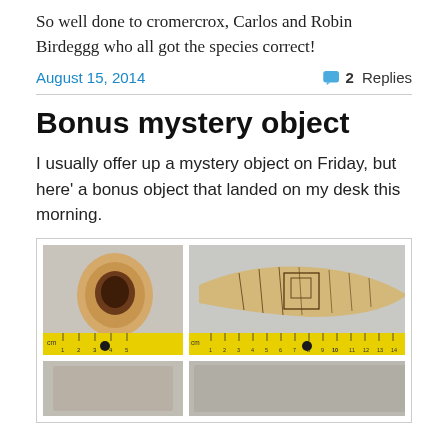So well done to cromercrox, Carlos and Robin Birdeggg who all got the species correct!
August 15, 2014   2 Replies
Bonus mystery object
I usually offer up a mystery object on Friday, but here' a bonus object that landed on my desk this morning.
[Figure (photo): Two photos side by side of an engraved ivory or bone tusk-like object shown from the end (hollow opening visible) and from the side with decorative etched patterns, each photographed with a yellow centimeter ruler beneath. Below are two more partially visible photographs of the same or similar object.]